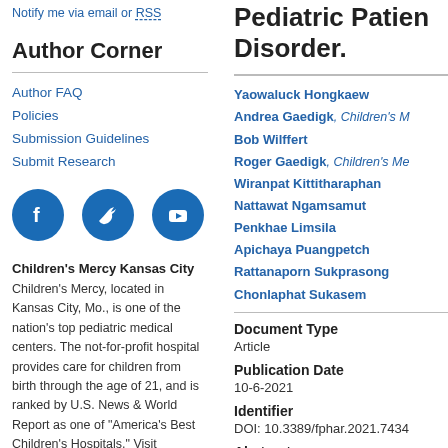Notify me via email or RSS
Author Corner
Author FAQ
Policies
Submission Guidelines
Submit Research
[Figure (illustration): Social media icons: Facebook, Twitter, YouTube (blue circles)]
Children's Mercy Kansas City
Children's Mercy, located in Kansas City, Mo., is one of the nation's top pediatric medical centers. The not-for-profit hospital provides care for children from birth through the age of 21, and is ranked by U.S. News & World Report as one of "America's Best Children's Hospitals." Visit childrensmercy.org
Pediatric Patients: Disorder.
Yaowaluck Hongkaew
Andrea Gaedigk, Children's M
Bob Wilffert
Roger Gaedigk, Children's Me
Wiranpat Kittitharaphan
Nattawat Ngamsamut
Penkhae Limsila
Apichaya Puangpetch
Rattanaporn Sukprasong
Chonlaphat Sukasem
Document Type
Article
Publication Date
10-6-2021
Identifier
DOI: 10.3389/fphar.2021.7434
Abstract
We investigated the association...